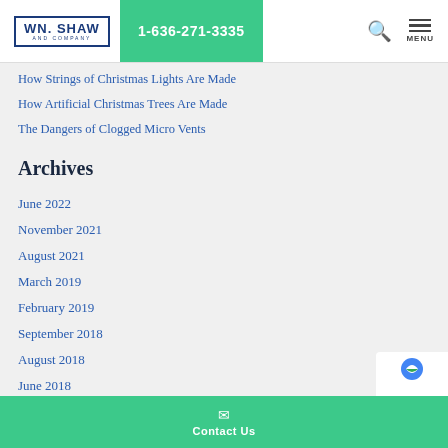WN. SHAW AND COMPANY | 1-636-271-3335
How Strings of Christmas Lights Are Made
How Artificial Christmas Trees Are Made
The Dangers of Clogged Micro Vents
Archives
June 2022
November 2021
August 2021
March 2019
February 2019
September 2018
August 2018
June 2018
May 2018
October 2017
Contact Us